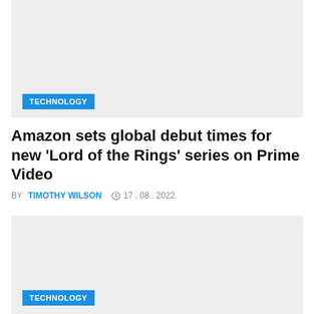[Figure (photo): Gray placeholder image for a technology article card, top section]
TECHNOLOGY
Amazon sets global debut times for new 'Lord of the Rings' series on Prime Video
BY TIMOTHY WILSON  17.08.2022
[Figure (photo): Gray placeholder image for a second technology article card, bottom section]
TECHNOLOGY